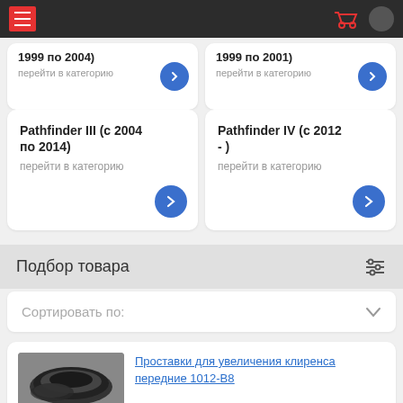Navigation header with hamburger menu and cart icon
1999 по 2004) перейти в категорию
1999 по 2001) перейти в категорию
Pathfinder III (с 2004 по 2014) перейти в категорию
Pathfinder IV (с 2012 - ) перейти в категорию
Подбор товара
Сортировать по:
Проставки для увеличения клиренса передние 1012-B8